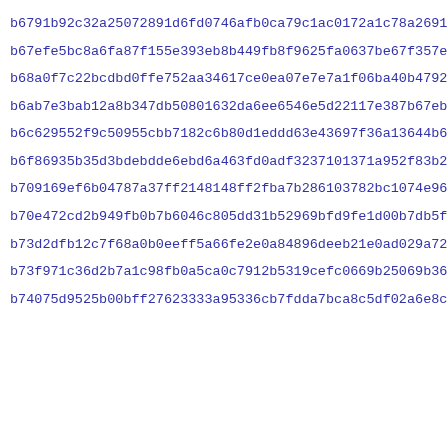b6791b92c32a25072891d6fd0746afb0ca79c1ac0172a1c78a26913d070cf
b67efe5bc8a6fa87f155e393eb8b449fb8f9625fa0637be67f357e45be5be
b68a0f7c22bcdbd0ffe752aa34617ce0ea07e7e7a1f06ba40b47926734afd
b6ab7e3bab12a8b347db50801632da6ee6546e5d22117e387b67eb946d1c5
b6c629552f9c50955cbb7182c6b80d1eddd63e43697f36a13644b6980818e
b6f86935b35d3bdebdde6ebd6a463fd0adf3237101371a952f83b22bc533d
b709169ef6b04787a37ff2148148ff2fba7b286103782bc1074e964ae0945
b70e472cd2b949fb0b7b6046c805dd31b52969bfd9fe1d00b7db5fec653eb
b73d2dfb12c7f68a0b0eeff5a66fe2e0a84896deeb21e0ad029a722be14e9
b73f971c36d2b7a1c98fb0a5ca0c7912b5319cefc0669b25069b36583e6cf
b74075d9525b00bff27623333a95336cb7fdda7bca8c5df02a6e8c7e5fd77e